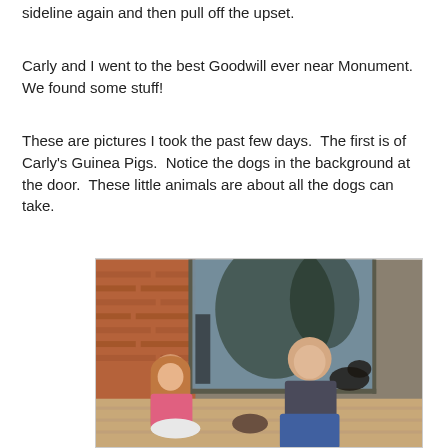sideline again and then pull off the upset.
Carly and I went to the best Goodwill ever near Monument.  We found some stuff!
These are pictures I took the past few days.  The first is of Carly's Guinea Pigs.  Notice the dogs in the background at the door.  These little animals are about all the dogs can take.
[Figure (photo): Outdoor photo of two children sitting on a patio/deck. A girl with long reddish-brown hair wearing a pink top sits on the left. A boy in a dark grey t-shirt and blue jeans sits on the right, looking down. In the background is a brick wall, a large glass sliding door reflecting trees, and a dog visible at/near the door. They appear to be interacting with guinea pigs or small animals.]